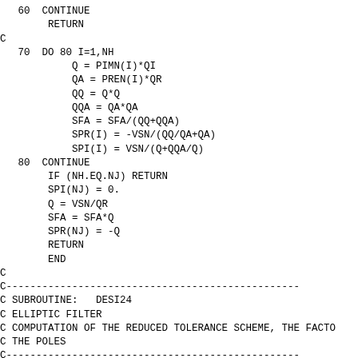60  CONTINUE
        RETURN
C
    70  DO 80 I=1,NH
            Q = PIMN(I)*QI
            QA = PREN(I)*QR
            QQ = Q*Q
            QQA = QA*QA
            SFA = SFA/(QQ+QQA)
            SPR(I) = -VSN/(QQ/QA+QA)
            SPI(I) = VSN/(Q+QQA/Q)
    80  CONTINUE
        IF (NH.EQ.NJ) RETURN
        SPI(NJ) = 0.
        Q = VSN/QR
        SFA = SFA*Q
        SPR(NJ) = -Q
        RETURN
        END
C
C---...
C SUBROUTINE:   DESI24
C ELLIPTIC FILTER
C COMPUTATION OF THE REDUCED TOLERANCE SCHEME, THE FACTOR
C THE POLES
C---...
C
        SUBROUTINE DESI24
C
        DOUBLE PRECISION DPI, DOMI